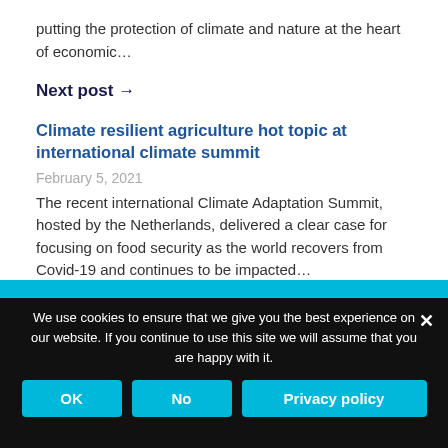putting the protection of climate and nature at the heart of economic…
Next post →
Climate resilient agriculture hot topic at international climate summit
February 5, 2021
The recent international Climate Adaptation Summit, hosted by the Netherlands, delivered a clear case for focusing on food security as the world recovers from Covid-19 and continues to be impacted…
We use cookies to ensure that we give you the best experience on our website. If you continue to use this site we will assume that you are happy with it.